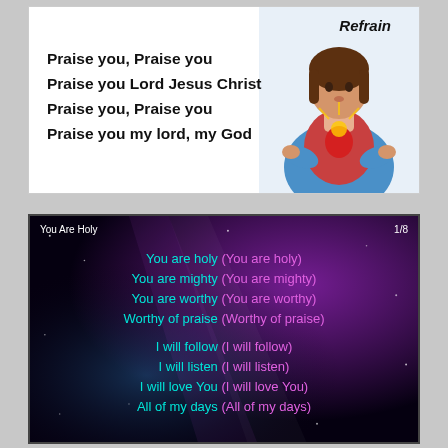[Figure (illustration): Religious illustration of Jesus Christ with sacred heart, shown from waist up with arms slightly open, wearing red and blue robes, with a glowing heart, against white background]
Refrain
Praise you, Praise you
Praise you Lord Jesus Christ
Praise you, Praise you
Praise you my lord, my God
[Figure (screenshot): Worship song slide with dark purple/cosmic background showing lyrics for 'You Are Holy' slide 1/8. Contains two stanzas: 'You are holy (You are holy) / You are mighty (You are mighty) / You are worthy (You are worthy) / Worthy of praise (Worthy of praise)' and 'I will follow (I will follow) / I will listen (I will listen) / I will love You (I will love You) / All of my days (All of my days)']